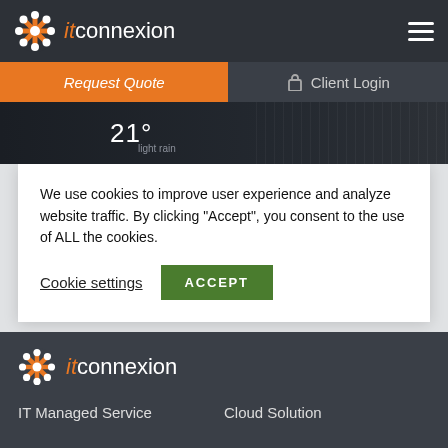[Figure (logo): itconnexion logo with orange star/asterisk icon and hamburger menu in dark header]
Request Quote | Client Login
[Figure (screenshot): Hero banner showing 21 degrees weather widget on dark background]
We use cookies to improve user experience and analyze website traffic. By clicking “Accept”, you consent to the use of ALL the cookies.
Cookie settings  ACCEPT
[Figure (logo): itconnexion footer logo with orange star/asterisk icon]
IT Managed Service    Cloud Solution